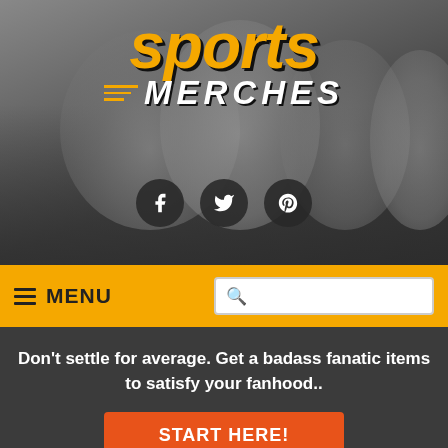[Figure (screenshot): Sports Merches website header with grayscale photo of female athletes celebrating, yellow italic 'sports' logo on top, white bold 'MERCHES' text below with yellow dash lines accent]
sports MERCHES
≡ MENU [search box]
Don't settle for average. Get a badass fanatic items to satisfy your fanhood..
START HERE!
HOME ▶ SPORTS ▶
Top 10 Best Canucks Jersey – Available On Market